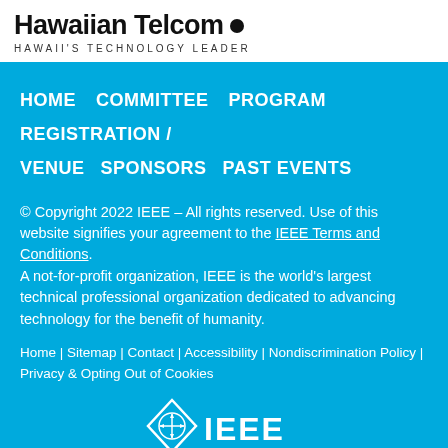Hawaiian Telcom • HAWAII'S TECHNOLOGY LEADER
HOME   COMMITTEE   PROGRAM
REGISTRATION / VENUE   SPONSORS   PAST EVENTS
© Copyright 2022 IEEE – All rights reserved. Use of this website signifies your agreement to the IEEE Terms and Conditions. A not-for-profit organization, IEEE is the world's largest technical professional organization dedicated to advancing technology for the benefit of humanity.
Home | Sitemap | Contact | Accessibility | Nondiscrimination Policy | Privacy & Opting Out of Cookies
[Figure (logo): IEEE diamond logo with compass rose symbol and IEEE text in white]